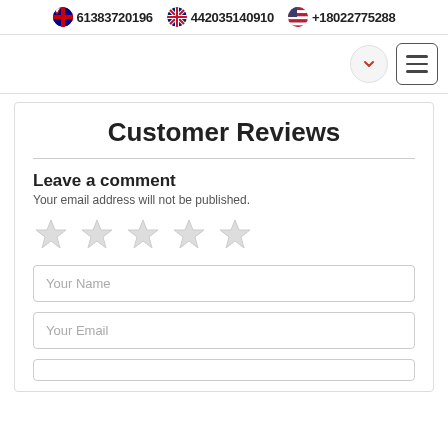61383720196  442035140910  +18022775288
[Figure (screenshot): Navigation bar with a circle dropdown button and a hamburger menu button]
Customer Reviews
Leave a comment
Your email address will not be published.
[Figure (other): Five empty grey star rating icons]
Your Name
Your Email